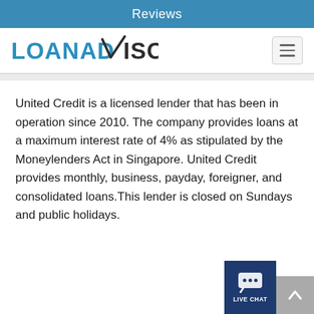Reviews
[Figure (logo): LoanAdvisor logo with blue text and dark checkmark in the word ADVISOR, plus a hamburger menu icon on the right]
United Credit is a licensed lender that has been in operation since 2010. The company provides loans at a maximum interest rate of 4% as stipulated by the Moneylenders Act in Singapore. United Credit provides monthly, business, payday, foreigner, and consolidated loans.This lender is closed on Sundays and public holidays.